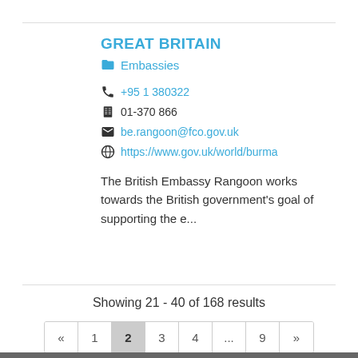GREAT BRITAIN
Embassies
+95 1 380322
01-370 866
be.rangoon@fco.gov.uk
https://www.gov.uk/world/burma
The British Embassy Rangoon works towards the British government's goal of supporting the e...
Showing 21 - 40 of 168 results